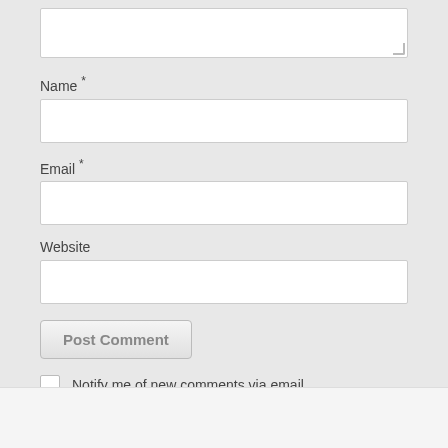[Figure (screenshot): Top portion of a textarea input (bottom visible, with resize handle)]
Name *
[Figure (screenshot): Empty text input field for Name]
Email *
[Figure (screenshot): Empty text input field for Email]
Website
[Figure (screenshot): Empty text input field for Website]
[Figure (screenshot): Post Comment button]
Notify me of new comments via email.
Notify me of new posts via email.